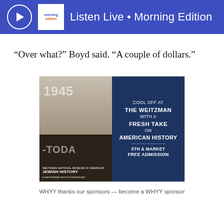Listen Live • Morning Edition
“Over what?” Boyd said. “A couple of dollars.”
[Figure (photo): Advertisement for the Weitzman National Museum of American Jewish History. Left half shows interior museum photo with '1945' and 'TODAY' text overlaid, a child in a flag dress, and museum logo. Right half on dark blue background reads: COOL OFF AT / THE WEITZMAN / WITH A / FRESH TAKE / ON / AMERICAN HISTORY / 5TH & MARKET / FREE ADMISSION]
WHYY thanks our sponsors — become a WHYY sponsor